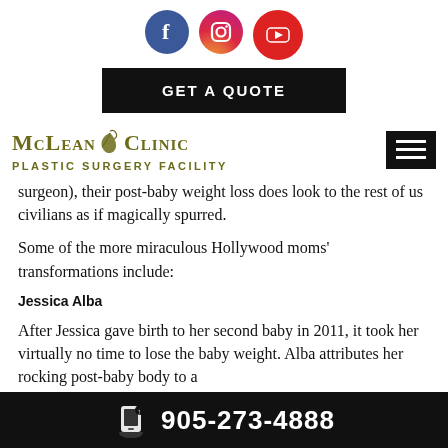[Figure (logo): Social media icons: Facebook (blue circle with f), Instagram (gradient circle with camera icon), YouTube (red circle with play button)]
[Figure (other): GET A QUOTE black button]
[Figure (logo): McLean Clinic Plastic Surgery Facility logo with olive/green text and decorative leaf, plus hamburger menu icon]
surgeon), their post-baby weight loss does look to the rest of us civilians as if magically spurred.
Some of the more miraculous Hollywood moms' transformations include:
Jessica Alba
After Jessica gave birth to her second baby in 2011, it took her virtually no time to lose the baby weight. Alba attributes her rocking post-baby body to a
905-273-4888